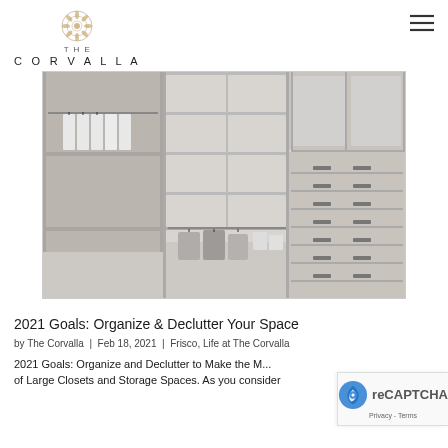THE CORVALLA
[Figure (photo): Interior of a modern walk-in closet with white shelving, hanging clothes, drawers, and glass-front upper cabinets]
2021 Goals: Organize & Declutter Your Space
by The Corvalla | Feb 18, 2021 | Frisco, Life at The Corvalla
2021 Goals: Organize and Declutter to Make the M... of Large Closets and Storage Spaces. As you consider